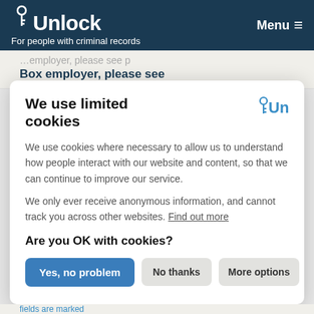Unlock – For people with criminal records | Menu
Box employer, please see bite.org.uk/bantthebox
We use limited cookies
We use cookies where necessary to allow us to understand how people interact with our website and content, so that we can continue to improve our service.
We only ever receive anonymous information, and cannot track you across other websites. Find out more
Are you OK with cookies?
Yes, no problem | No thanks | More options
fields are marked